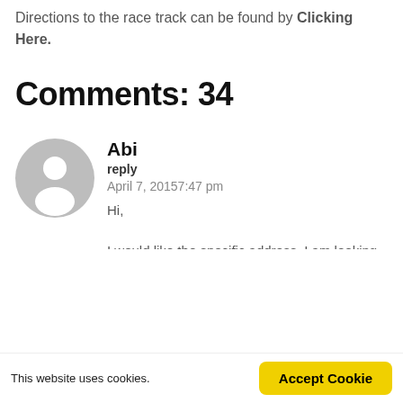Directions to the race track can be found by Clicking Here.
Comments: 34
[Figure (illustration): Default user avatar - grey circle with silhouette of a person's head and shoulders]
Abi
reply
April 7, 20157:47 pm
Hi,
I would like the specific address. I am looking
This website uses cookies.
Accept Cookie